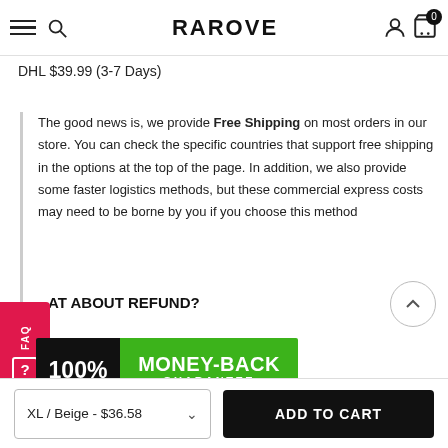RAROVE
DHL $39.99 (3-7 Days)
The good news is, we provide Free Shipping on most orders in our store. You can check the specific countries that support free shipping in the options at the top of the page. In addition, we also provide some faster logistics methods, but these commercial express costs may need to be borne by you if you choose this method
AT ABOUT REFUND?
[Figure (infographic): 100% Money-Back Guarantee badge with black left section showing '100%' and green right section showing 'MONEY-BACK GUARANTEE']